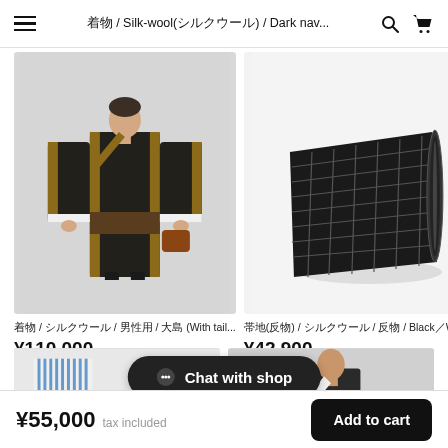≡  着物 / Silk-wool(シルクウール) / Dark nav...  🔍  🛒
[Figure (photo): Man wearing dark navy kimono with brown/gold trim accents, standing full-length against grey background]
着物 / シルクウール / 男性用 / 大島 (With tail...
¥110,000
[Figure (photo): Black and white checkered/grid patterned fabric roll or bolt laid flat on white background]
帯地(反物) / シルクウール / 反物 / Black／Wit...
¥42,900
[Figure (photo): Partial bottom product row — left item appears to show blue/white striped textile, right item shows person wearing dark kimono]
Chat with shop
¥55,000  tax included
Add to cart